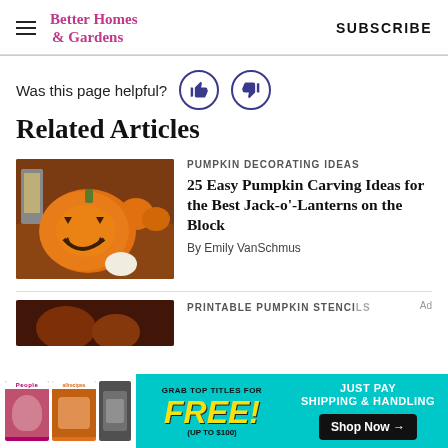Better Homes & Gardens | SUBSCRIBE
Was this page helpful?
Related Articles
[Figure (photo): Carved jack-o'-lantern pumpkin on a porch with other pumpkins and autumn decorations in the background]
PUMPKIN DECORATING IDEAS
25 Easy Pumpkin Carving Ideas for the Best Jack-o'-Lanterns on the Block
By Emily VanSchmus
[Figure (photo): Halloween/autumn themed image, partially visible at bottom]
PRINTABLE PUMPKIN STENCILS
[Figure (infographic): Advertisement banner: Grab top titles for FREE! (up to $100) - Just pay shipping & handling. Shop Now button. Features People and allrecipes magazine covers.]